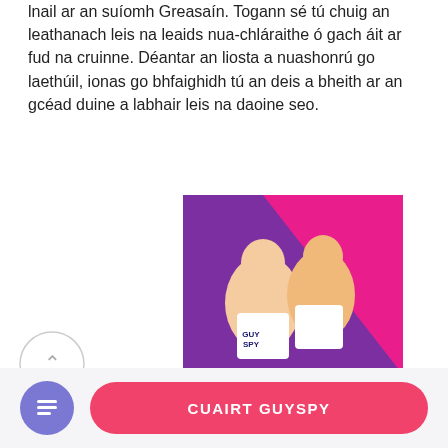lnail ar an suíomh Greasaín. Togann sé tú chuig an leathanach leis na leaids nua-chláraithe ó gach áit ar fud na cruinne. Déantar an liosta a nuashonrú go laethúil, ionas go bhfaighidh tú an deis a bheith ar an gcéad duine a labhair leis na daoine seo.
[Figure (photo): Advertisement for GUY SPY app showing two young men in white tank tops against a pink and purple background with text MEET MORE MEN]
[Figure (infographic): Scroll up chevron indicator circle and 77% progress ring indicator]
CUAIRT GUYSPY